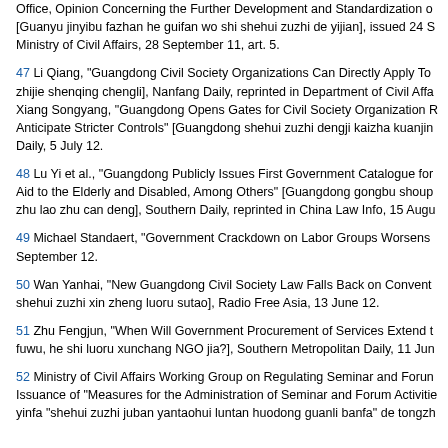Office, Opinion Concerning the Further Development and Standardization of [Guanyu jinyibu fazhan he guifan wo shi shehui zuzhi de yijian], issued 24 S... Ministry of Civil Affairs, 28 September 11, art. 5.
47 Li Qiang, "Guangdong Civil Society Organizations Can Directly Apply To... zhijie shenqing chengli], Nanfang Daily, reprinted in Department of Civil Affa... Xiang Songyang, "Guangdong Opens Gates for Civil Society Organization R... Anticipate Stricter Controls" [Guangdong shehui zuzhi dengji kaizha kuanjin... Daily, 5 July 12.
48 Lu Yi et al., "Guangdong Publicly Issues First Government Catalogue for... Aid to the Elderly and Disabled, Among Others" [Guangdong gongbu shoup... zhu lao zhu can deng], Southern Daily, reprinted in China Law Info, 15 Augu...
49 Michael Standaert, "Government Crackdown on Labor Groups Worsens... September 12.
50 Wan Yanhai, "New Guangdong Civil Society Law Falls Back on Convent... shehui zuzhi xin zheng luoru sutao], Radio Free Asia, 13 June 12.
51 Zhu Fengjun, "When Will Government Procurement of Services Extend t... fuwu, he shi luoru xunchang NGO jia?], Southern Metropolitan Daily, 11 Jun...
52 Ministry of Civil Affairs Working Group on Regulating Seminar and Forum... Issuance of "Measures for the Administration of Seminar and Forum Activitie... yinfa "shehui zuzhi juban yantaohui luntan huodong guanli banfa" de tongzh...